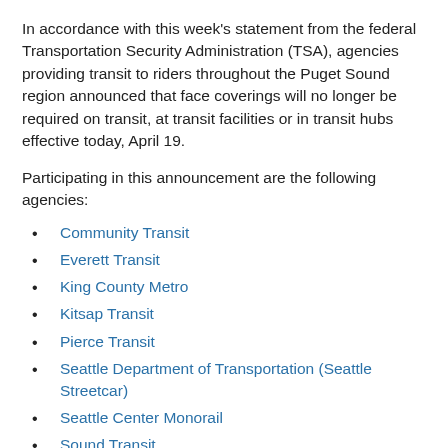In accordance with this week's statement from the federal Transportation Security Administration (TSA), agencies providing transit to riders throughout the Puget Sound region announced that face coverings will no longer be required on transit, at transit facilities or in transit hubs effective today, April 19.
Participating in this announcement are the following agencies:
Community Transit
Everett Transit
King County Metro
Kitsap Transit
Pierce Transit
Seattle Department of Transportation (Seattle Streetcar)
Seattle Center Monorail
Sound Transit
TSA's initial face mask requirement went into effect on February 1, 2021. Previous to the TSA requirement, Washington state and local health authorities had issued mandates for face coverings in public spaces.
While masks are no longer required on transit, riders are welcome